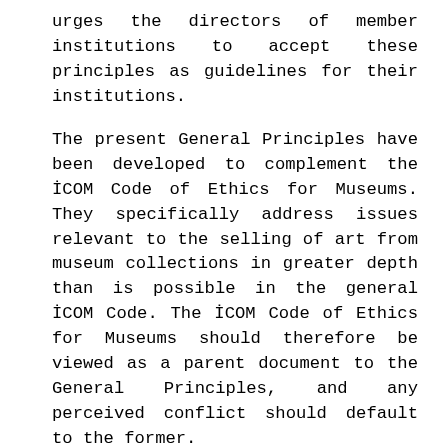urges the directors of member institutions to accept these principles as guidelines for their institutions.

The present General Principles have been developed to complement the İCOM Code of Ethics for Museums. They specifically address issues relevant to the selling of art from museum collections in greater depth than is possible in the general İCOM Code. The İCOM Code of Ethics for Museums should therefore be viewed as a parent document to the General Principles, and any perceived conflict should default to the former.